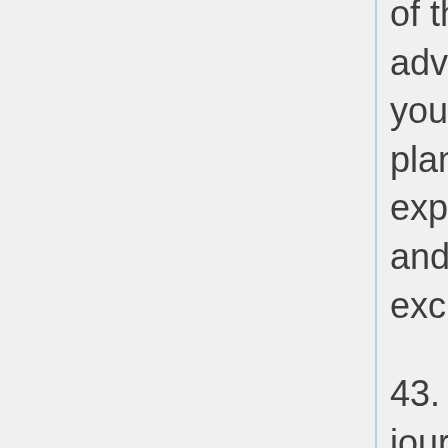of this is advisable if you are planning for explorations and excursions.
43. If your journey is all through the summer year, do not overlook to provide a cap or umbrella when you go about the metropolis. Also bear in